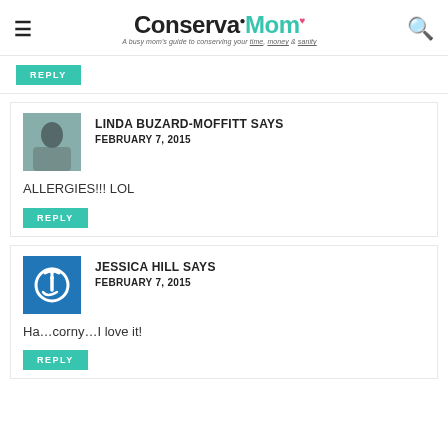ConservaMom — A busy mom's guide to conserving your time, money & sanity
REPLY
LINDA BUZARD-MOFFITT SAYS
FEBRUARY 7, 2015
ALLERGIES!!! LOL
REPLY
JESSICA HILL SAYS
FEBRUARY 7, 2015
Ha...corny...I love it!
REPLY